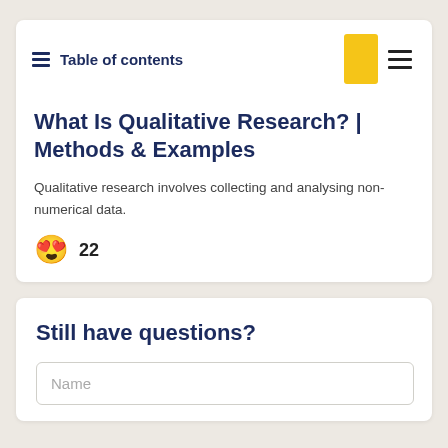Table of contents
What Is Qualitative Research? | Methods & Examples
Qualitative research involves collecting and analysing non-numerical data.
😍 22
Still have questions?